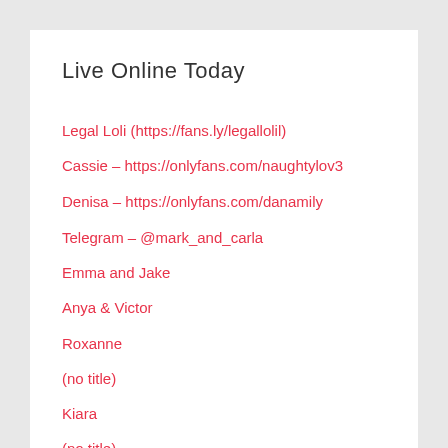Live Online Today
Legal Loli (https://fans.ly/legallolil)
Cassie – https://onlyfans.com/naughtylov3
Denisa – https://onlyfans.com/danamily
Telegram – @mark_and_carla
Emma and Jake
Anya & Victor
Roxanne
(no title)
Kiara
(no title)